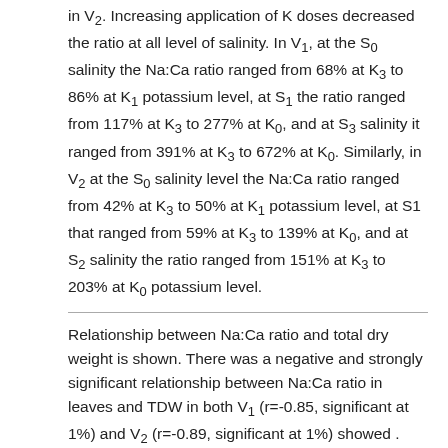in V₂. Increasing application of K doses decreased the ratio at all level of salinity. In V₁, at the S₀ salinity the Na:Ca ratio ranged from 68% at K₃ to 86% at K₁ potassium level, at S₁ the ratio ranged from 117% at K₃ to 277% at K₀, and at S₃ salinity it ranged from 391% at K₃ to 672% at K₀. Similarly, in V₂ at the S₀ salinity level the Na:Ca ratio ranged from 42% at K₃ to 50% at K₁ potassium level, at S1 that ranged from 59% at K₃ to 139% at K₀, and at S₂ salinity the ratio ranged from 151% at K₃ to 203% at K₀ potassium level.
Relationship between Na:Ca ratio and total dry weight is shown. There was a negative and strongly significant relationship between Na:Ca ratio in leaves and TDW in both V₁ (r=-0.85, significant at 1%) and V₂ (r=-0.89, significant at 1%) showed . Bangladesh Soybean-4 showed higher negative relationship (y=-40.89x+17.92, R2=0.80) than Galarsum (y=-46.96x+24.22, R2=0.74) between Na:Ca ratio and total dry weight. The R2 value indicates that about 73% of the contribution to the TDW